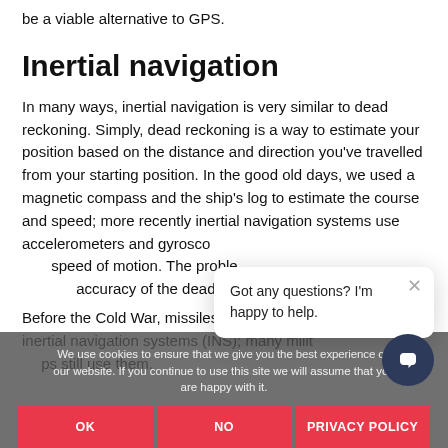be a viable alternative to GPS.
Inertial navigation
In many ways, inertial navigation is very similar to dead reckoning. Simply, dead reckoning is a way to estimate your position based on the distance and direction you’ve travelled from your starting position. In the good old days, we used a magnetic compass and the ship’s log to estimate the course and speed; more recently inertial navigation systems use accelerometers and gyroscopes to measure the direction and speed of motion. The problem is that errors accumulate and the accuracy of the dead reckoning degrades over time.
Before the Cold War, missiles used to navigate solely on inertial navigation systems (INS); many military aircraft and ships still use them.
We use cookies to ensure that we give you the best experience on our website. If you continue to use this site we will assume that you are happy with it.
Got any questions? I’m happy to help.